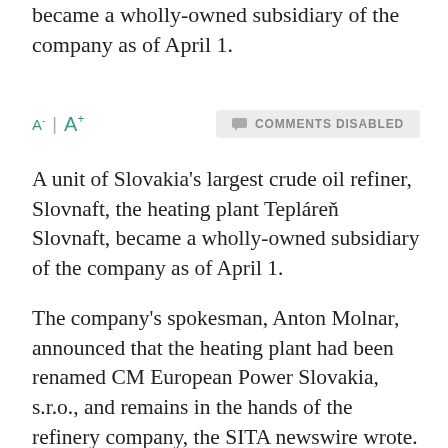became a wholly-owned subsidiary of the company as of April 1.
A- | A+   COMMENTS DISABLED
A unit of Slovakia's largest crude oil refiner, Slovnaft, the heating plant Tepláreň Slovnaft, became a wholly-owned subsidiary of the company as of April 1.
The company's spokesman, Anton Molnar, announced that the heating plant had been renamed CM European Power Slovakia, s.r.o., and remains in the hands of the refinery company, the SITA newswire wrote. The change in the status of the heating plant is part of a projected modernisation as well as a strategic partnership between the MOL group (which controls Slovnaft) and the Czech energy